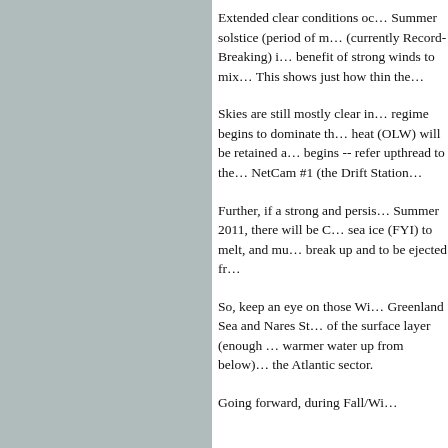[Figure (photo): Gray-toned panel occupying the left portion of the page, likely an image or sidebar background.]
Extended clear conditions oc… Summer solstice (period of m… (currently Record-Breaking) i… benefit of strong winds to mix… This shows just how thin the…
Skies are still mostly clear in … regime begins to dominate th… heat (OLW) will be retained a… begins -- refer upthread to the… NetCam #1 (the Drift Station …
Further, if a strong and persis… Summer 2011, there will be C… sea ice (FYI) to melt, and mu… break up and to be ejected fr…
So, keep an eye on those Wi… Greenland Sea and Nares St… of the surface layer (enough … warmer water up from below)… the Atlantic sector.
Going forward, during Fall/Wi…